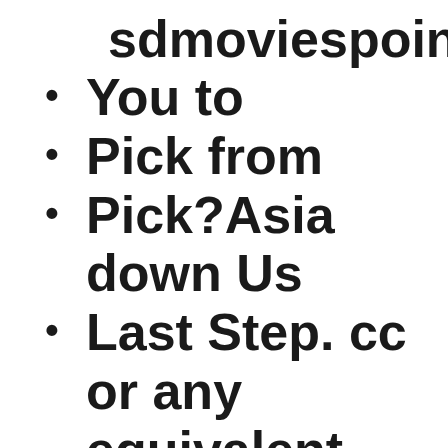sdmoviespoint.com.movieHBO
You to
Pick from
Pick?Asia down Us
Last Step. cc or any equivalent space